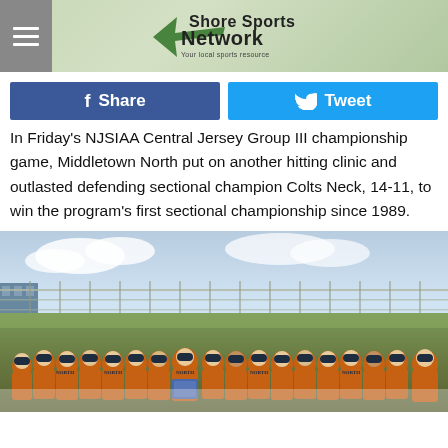Shore Sports Network
In Friday's NJSIAA Central Jersey Group III championship game, Middletown North put on another hitting clinic and outlasted defending sectional champion Colts Neck, 14-11, to win the program's first sectional championship since 1989.
[Figure (photo): Team photo of Middletown North baseball team in orange uniforms holding a championship plaque, posed on a baseball field with a chain-link fence in the background.]